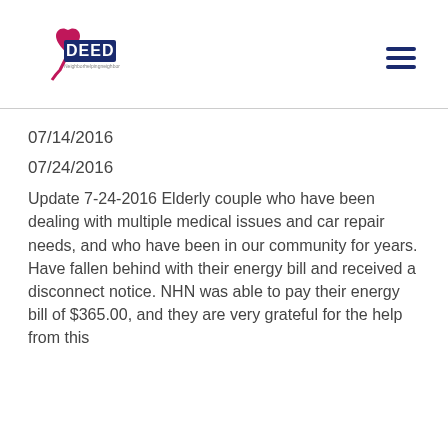[Figure (logo): Good Deed organization logo with a heart shape in magenta/pink and the text DEED in dark blue, with tagline text below]
07/14/2016
07/24/2016
Update 7-24-2016 Elderly couple who have been dealing with multiple medical issues and car repair needs, and who have been in our community for years. Have fallen behind with their energy bill and received a disconnect notice. NHN was able to pay their energy bill of $365.00, and they are very grateful for the help from this